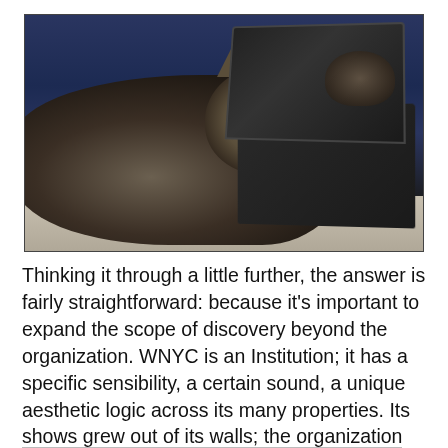[Figure (photo): A cat lying down and looking at a laptop screen. The cat is resting on a white/light-colored surface, with a dark blue wall in the background. The laptop screen appears to show a reflection of the cat. The image is in color with a somewhat dim, blue-tinted atmosphere.]
Thinking it through a little further, the answer is fairly straightforward: because it's important to expand the scope of discovery beyond the organization. WNYC is an Institution; it has a specific sensibility, a certain sound, a unique aesthetic logic across its many properties. Its shows grew out of its walls; the organization